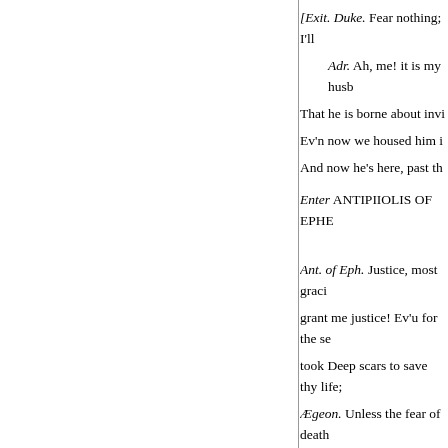[Exit. Duke. Fear nothing; I'll
Adr. Ah, me! it is my husb
That he is borne about invi
Ev'n now we housed him i
And now he's here, past th
Enter ANTIPIIOLIS OF EPHE
Ant. of Eph. Justice, most gracio
grant me justice! Ev'u for the se
took Deep scars to save thy life;
Ægeon. Unless the fear of death
dote, I see my son Antipholis, a
man there,
She, whom thou gav'st to m
She hath abused and disho
Ev'n in the strength and he
Duke. Discover how, and th
Ant. of Eph. This d